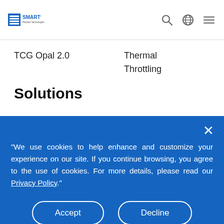SMART Modular Technologies
TCG Opal 2.0
Thermal Throttling
Solutions
“We use cookies to help enhance and customize your experience on our site. If you continue browsing, you agree to the use of cookies. For more details, please read our Privacy Policy.”
Accept
Decline